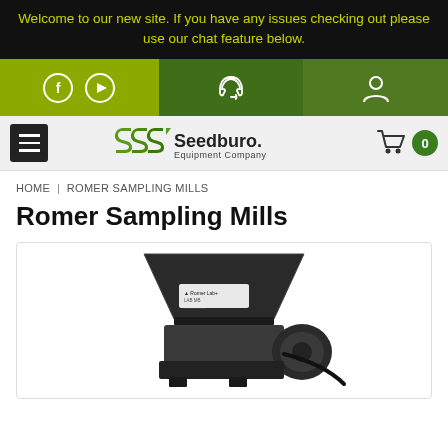Welcome to our new site. If you have any issues checking out please use our chat feature below.
[Figure (screenshot): Navigation bar with social media icons (Facebook, YouTube), headset/support icon, and user account icon on colored green background sections]
[Figure (logo): Seedburo Equipment Company logo with stylized SSS letters in green and cart icon with 0 badge]
HOME | ROMER SAMPLING MILLS
Romer Sampling Mills
[Figure (photo): Photo of a Romer Lab+ sampling mill machine — a dark metal hopper/funnel on top feeding into a grinding unit below, shown on white background]